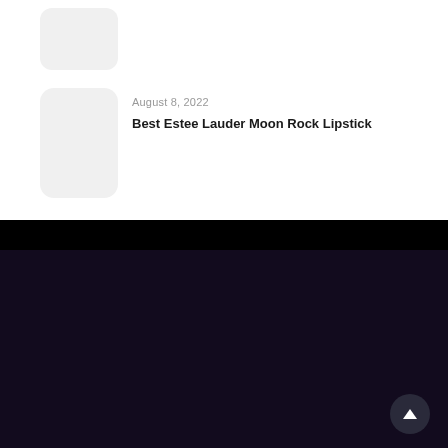[Figure (screenshot): Thumbnail image placeholder (light gray rounded rectangle) in white card - top thumbnail]
August 8, 2022
Best Estee Lauder Moon Rock Lipstick
Recent posts
[Figure (photo): Dark thumbnail with lipstick product silhouette in dark purple rounded rectangle]
August 8, 2022
Best Nova Lipstick
August 8, 2022